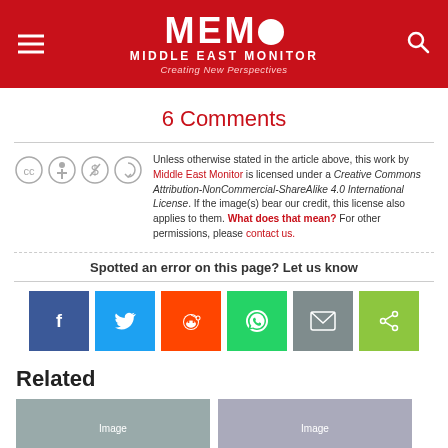[Figure (logo): Middle East Monitor (MEMO) website header with red background, hamburger menu icon on left, MEMO logo in center, search icon on right]
6 Comments
Unless otherwise stated in the article above, this work by Middle East Monitor is licensed under a Creative Commons Attribution-NonCommercial-ShareAlike 4.0 International License. If the image(s) bear our credit, this license also applies to them. What does that mean? For other permissions, please contact us.
Spotted an error on this page? Let us know
[Figure (infographic): Social media sharing buttons: Facebook (blue), Twitter (light blue), Reddit (orange), WhatsApp (green), Email (grey), Share (green)]
Related
[Figure (photo): Two related article thumbnail images side by side]